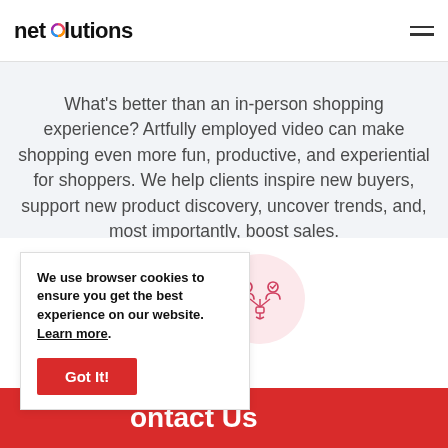net solutions
What's better than an in-person shopping experience? Artfully employed video can make shopping even more fun, productive, and experiential for shoppers. We help clients inspire new buyers, support new product discovery, uncover trends, and, most importantly, boost sales.
[Figure (illustration): Icon of a person/user with network nodes, pink circle background]
We use browser cookies to ensure you get the best experience on our website. Learn more.
Got It!
Contact Us